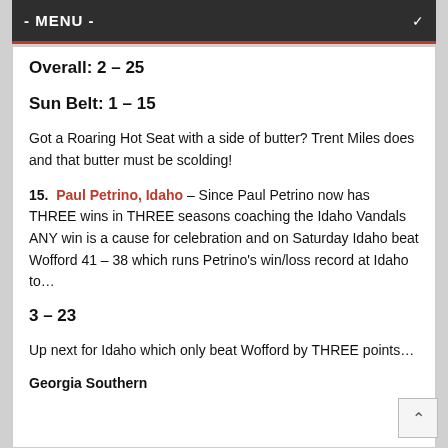- MENU -
Overall:  2 – 25
Sun Belt:  1 – 15
Got a Roaring Hot Seat with a side of butter? Trent Miles does and that butter must be scolding!
15.  Paul Petrino, Idaho – Since Paul Petrino now has THREE wins in THREE seasons coaching the Idaho Vandals ANY win is a cause for celebration and on Saturday Idaho beat Wofford 41 – 38 which runs Petrino's win/loss record at Idaho to…
3 – 23
Up next for Idaho which only beat Wofford by THREE points…
Georgia Southern